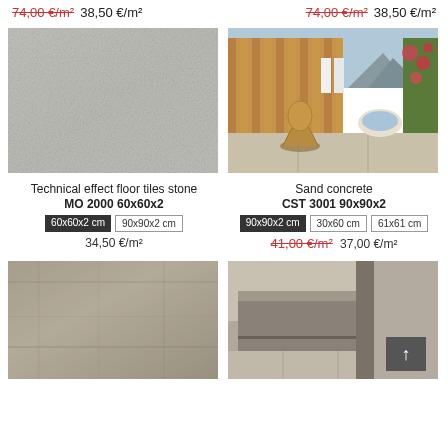74,00 €/m² 38,50 €/m²  74,00 €/m² 38,50 €/m²
[Figure (photo): Close-up texture of light grey stone/technical floor tile]
[Figure (photo): Outdoor terrace with wicker chair, wooden fence, hot tub, and large format floor tiles]
Technical effect floor tiles stone
MO 2000 60x60x2
60x60x2 cm  90x90x2 cm
34,50 €/m²
Sand concrete
CST 3001 90x90x2
90x90x2 cm  30x60 cm  61x61 cm
41,00 €/m²  37,00 €/m²
[Figure (photo): Close-up of grey/beige concrete effect floor tile texture]
[Figure (photo): Interior room with large format concrete effect floor tiles, architectural detail, with scroll-to-top button overlay]